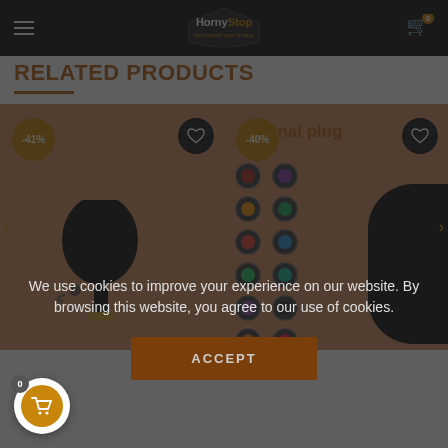HornyStop - Accomplish your fantasy
RELATED PRODUCTS
[Figure (photo): Product card 1 with -41% discount badge, wishlist button, and anal plug device with black silicone plug on skin-tone background]
[Figure (photo): Product card 2 with -40% discount badge, 'anal plug' label, color swatch grid showing ~16 color options, black toy partially visible, wishlist button]
We use cookies to improve your experience on our website. By browsing this website, you agree to our use of cookies.
ACCEPT